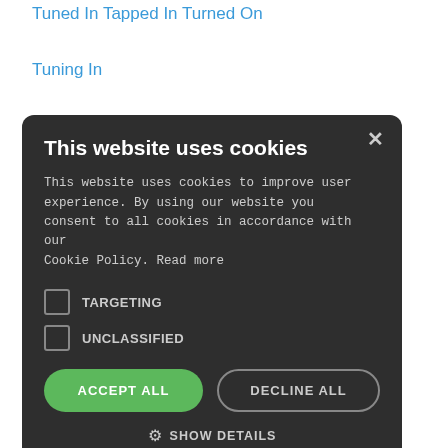Tuned In Tapped In Turned On
Tuning In
Turned On
This website uses cookies
This website uses cookies to improve user experience. By using our website you consent to all cookies in accordance with our Cookie Policy. Read more
[TARGETING] [UNCLASSIFIED]
[ACCEPT ALL] [DECLINE ALL]
⚙ SHOW DETAILS
POWERED BY COOKIE-SCRIPT
Vibration Activations